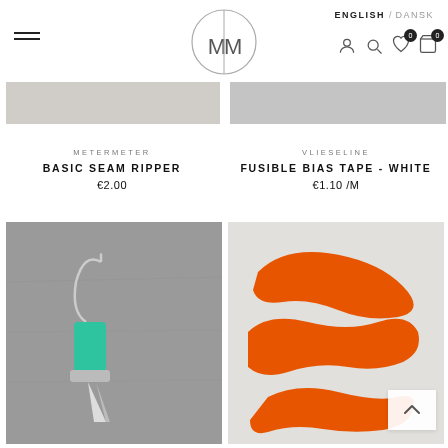ENGLISH / DANSK — MeterMeter logo, navigation icons
[Figure (photo): Partial product image strip — light grey texture (Basic Seam Ripper) on left and light grey (Fusible Bias Tape) on right]
METERMETER
BASIC SEAM RIPPER
€2.00
VLIESELINE
FUSIBLE BIAS TAPE - WHITE
€1.10 /M
[Figure (photo): Photo of a green seam ripper tool on grey concrete background]
[Figure (photo): Photo of orange plastic French curve rulers on light background, with a white back-to-top arrow button overlay in bottom right]